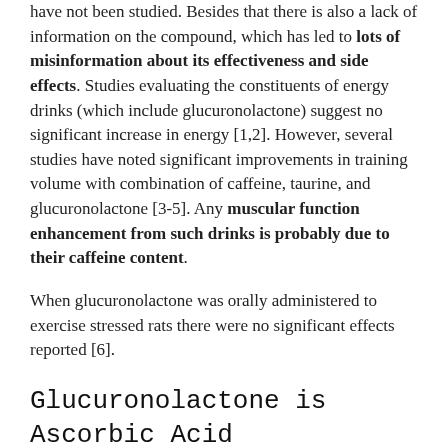have not been studied. Besides that there is also a lack of information on the compound, which has led to lots of misinformation about its effectiveness and side effects. Studies evaluating the constituents of energy drinks (which include glucuronolactone) suggest no significant increase in energy [1,2]. However, several studies have noted significant improvements in training volume with combination of caffeine, taurine, and glucuronolactone [3-5]. Any muscular function enhancement from such drinks is probably due to their caffeine content.
When glucuronolactone was orally administered to exercise stressed rats there were no significant effects reported [6].
Glucuronolactone is Ascorbic Acid (Vitamin C) Precursor
Glucuronolactone is necessary for ascorbic acid biosynthesis in animals that are capable of synthesizing ascorbic acid (Vitamin C) endogenously (in the body). [7].